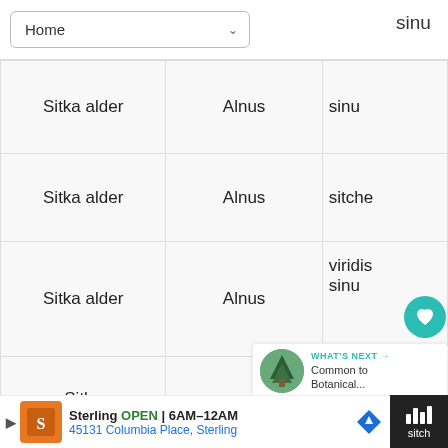[Figure (screenshot): Navigation bar with Home dropdown and partial text 'sinu' on right]
| Common Name | Genus | Species (partial) |
| --- | --- | --- |
| Sitka alder | Alnus | sinu |
| Sitka alder | Alnus | sitche |
| Sitka alder | Alnus | viridis sinu |
| Sitka mountain-ash | Sorbus | ch |
| Sitka Spruce | Picea |  |
[Figure (screenshot): UI overlay: heart/like button (teal), share button, count of 1, and 'What's Next' card showing Common to Botanical...]
[Figure (infographic): Advertisement bar: Sterling OPEN 6AM-12AM, 45131 Columbia Place Sterling; dark right panel with music/sitch text]